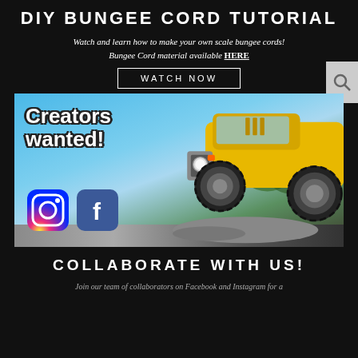DIY BUNGEE CORD TUTORIAL
Watch and learn how to make your own scale bungee cords!
Bungee Cord material available HERE
WATCH NOW
[Figure (photo): Promotional banner image showing 'Creators wanted!' text with Instagram and Facebook social media icons on the left, and a yellow off-road RC vehicle/Jeep on the right against a blue sky background]
COLLABORATE WITH US!
Join our team of collaborators on Facebook and Instagram for a